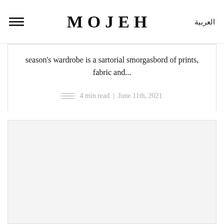MOJEH | العربية
season's wardrobe is a sartorial smorgasbord of prints, fabric and...
4 min read  |  June 11th, 2021
[Figure (photo): Large image placeholder area below the article card]